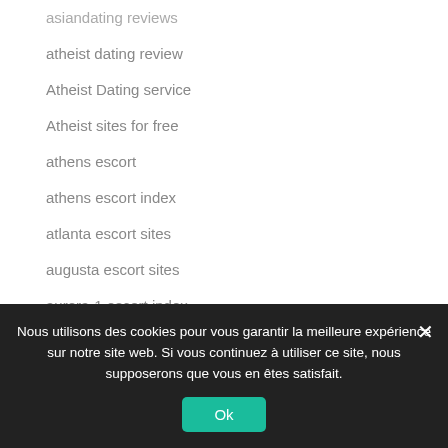asiandating reviews
atheist dating review
Atheist Dating service
Atheist sites for free
athens escort
athens escort index
atlanta escort sites
augusta escort sites
aurora-1 escort index
Aussie Flirt Matches login
austin the escort
Nous utilisons des cookies pour vous garantir la meilleure expérience sur notre site web. Si vous continuez à utiliser ce site, nous supposerons que vous en êtes satisfait.
Ok